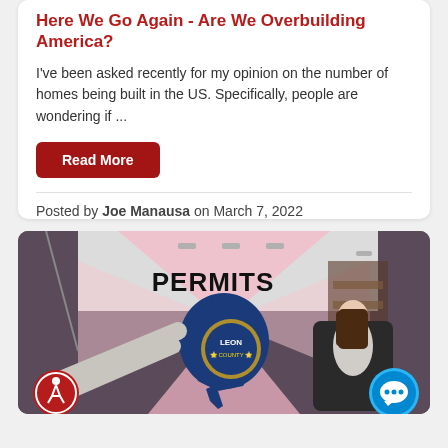Here We Go Again - Are We Overbuilding America?
I've been asked recently for my opinion on the number of homes being built in the US. Specifically, people are wondering if ...
Read More
Posted by Joe Manausa on March 7, 2022
[Figure (photo): Person reclining in office chair with feet up, background shows Florida map with 'PERMITS' text and state seal for Leon County, purple office room setting]